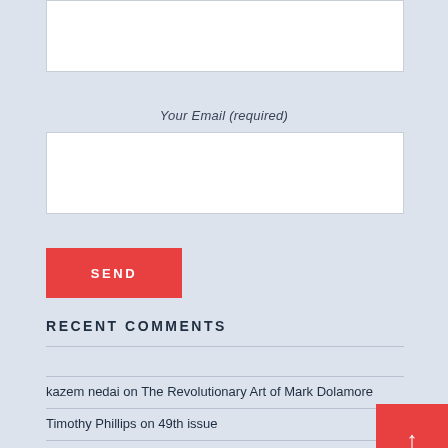[Figure (other): Partial white input box at top of page (text area)]
Your Email (required)
[Figure (other): White input box for email field]
Send
RECENT COMMENTS
kazem nedai on The Revolutionary Art of Mark Dolamore
Timothy Phillips on 49th issue